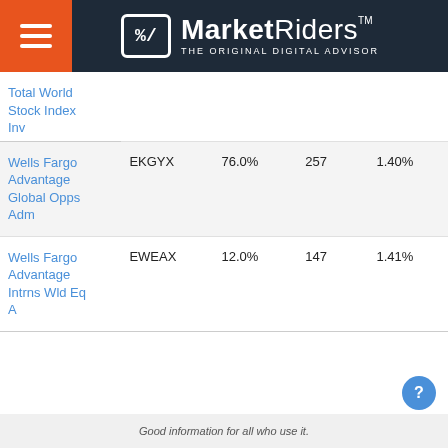MarketRiders — THE ORIGINAL DIGITAL ADVISOR
| Fund Name | Ticker | % Alloc | Holdings | Expense |
| --- | --- | --- | --- | --- |
| Total World Stock Index Inv |  |  |  |  |
| Wells Fargo Advantage Global Opps Adm | EKGYX | 76.0% | 257 | 1.40% |
| Wells Fargo Advantage Intrns Wld Eq A | EWEAX | 12.0% | 147 | 1.41% |
Good information for all who use it.